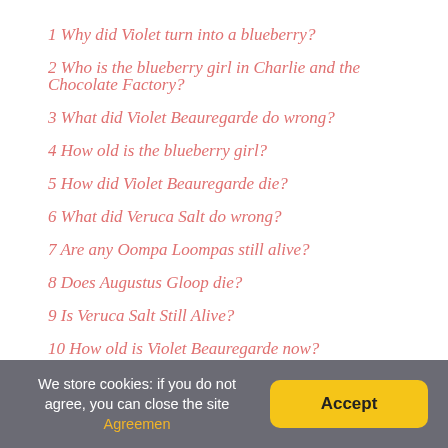1 Why did Violet turn into a blueberry?
2 Who is the blueberry girl in Charlie and the Chocolate Factory?
3 What did Violet Beauregarde do wrong?
4 How old is the blueberry girl?
5 How did Violet Beauregarde die?
6 What did Veruca Salt do wrong?
7 Are any Oompa Loompas still alive?
8 Does Augustus Gloop die?
9 Is Veruca Salt Still Alive?
10 How old is Violet Beauregarde now?
11 What did Mr Wonka say about the gum?
12 Will Violet always be a blueberry?
13 What happens if you turn into a blueberry?
14 Who died from Charlie and the Chocolate Factory?
We store cookies: if you do not agree, you can close the site Agreemen